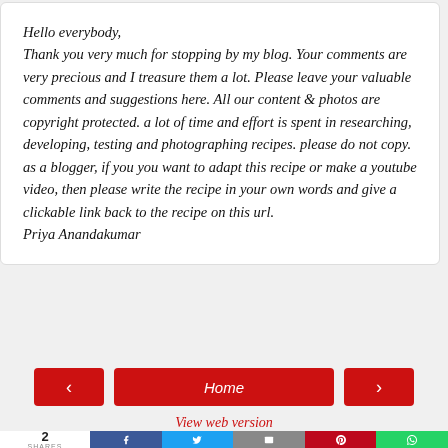Hello everybody,
Thank you very much for stopping by my blog. Your comments are very precious and I treasure them a lot. Please leave your valuable comments and suggestions here. All our content & photos are copyright protected. a lot of time and effort is spent in researching, developing, testing and photographing recipes. please do not copy. as a blogger, if you you want to adapt this recipe or make a youtube video, then please write the recipe in your own words and give a clickable link back to the recipe on this url.
Priya Anandakumar
[Figure (other): Navigation bar with left arrow button, Home button, and right arrow button, all in red]
View web version
[Figure (infographic): Share bar showing 2 SHARES count and social sharing buttons for Facebook, Twitter, Email, Pinterest, WhatsApp]